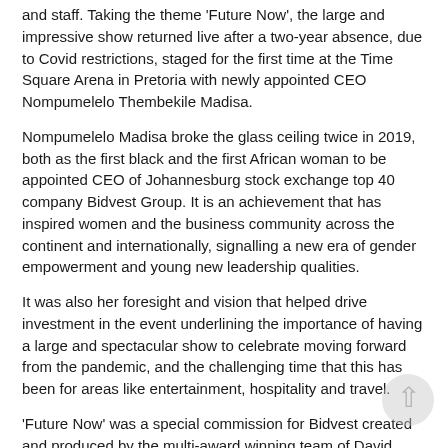and staff. Taking the theme 'Future Now', the large and impressive show returned live after a two-year absence, due to Covid restrictions, staged for the first time at the Time Square Arena in Pretoria with newly appointed CEO Nompumelelo Thembekile Madisa.
Nompumelelo Madisa broke the glass ceiling twice in 2019, both as the first black and the first African woman to be appointed CEO of Johannesburg stock exchange top 40 company Bidvest Group. It is an achievement that has inspired women and the business community across the continent and internationally, signalling a new era of gender empowerment and young new leadership qualities.
It was also her foresight and vision that helped drive investment in the event underlining the importance of having a large and spectacular show to celebrate moving forward from the pandemic, and the challenging time that this has been for areas like entertainment, hospitality and travel.
'Future Now' was a special commission for Bidvest created and produced by the multi-award winning team of David Bloch of David Bloch International and choreographer Debbie Rakusin, who commissioned Gearhouse South Africa as technical supplier and...